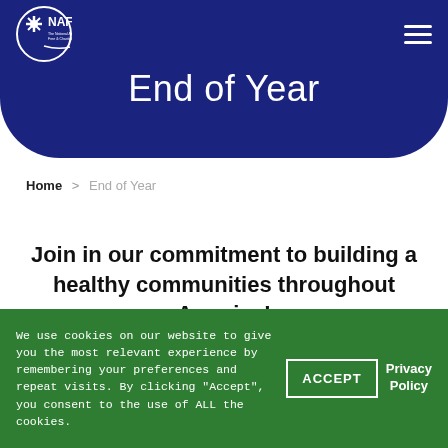[Figure (logo): NAFC logo - The National Association of Free & Charitable Clinics, white snowflake icon in circle on dark blue background]
End of Year
Home > End of Year
Join in our commitment to building a healthy communities throughout America!
We use cookies on our website to give you the most relevant experience by remembering your preferences and repeat visits. By clicking "Accept", you consent to the use of ALL the cookies.
ACCEPT
Privacy Policy